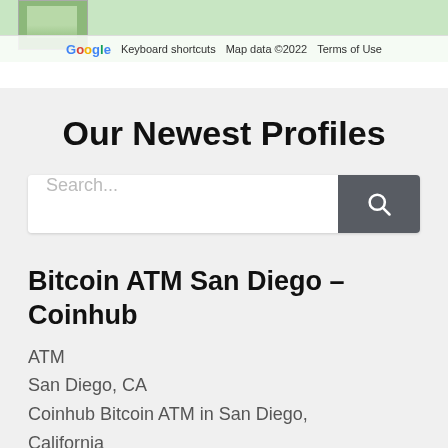[Figure (screenshot): Bottom edge of a Google Maps embed showing map tiles, a Google logo, keyboard shortcuts, map data copyright 2022, and Terms of Use bar.]
Our Newest Profiles
Search...
Bitcoin ATM San Diego – Coinhub
ATM
San Diego, CA
Coinhub Bitcoin ATM in San Diego, California